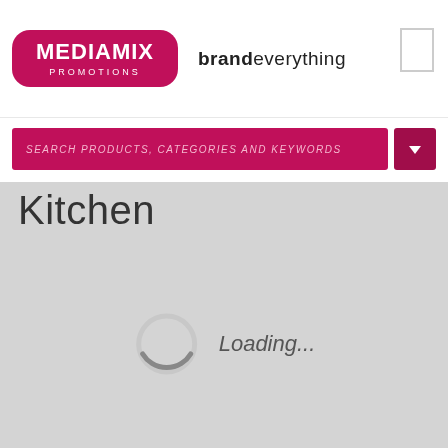[Figure (logo): Mediamix Promotions logo with pink rounded rectangle and brandeverything tagline]
SEARCH PRODUCTS, CATEGORIES AND KEYWORDS
Kitchen
[Figure (infographic): Loading spinner circle with Loading... text]